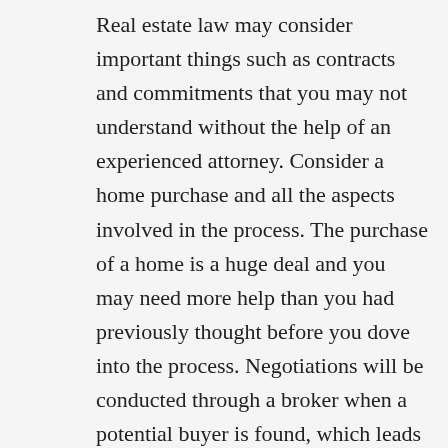Real estate law may consider important things such as contracts and commitments that you may not understand without the help of an experienced attorney. Consider a home purchase and all the aspects involved in the process. The purchase of a home is a huge deal and you may need more help than you had previously thought before you dove into the process. Negotiations will be conducted through a broker when a potential buyer is found, which leads to an informal agreement. They will then enter into a formal contract and the process will start up from there. For the end result, the property is transferred from the seller to the buyer and the seller will receive the purchase price bargained for in the contract. Without an attorney through this process, there may be huge consequences. There may be many legalities surrounding this type of law, even more